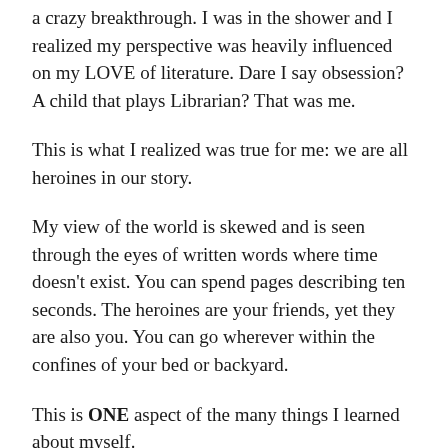a crazy breakthrough. I was in the shower and I realized my perspective was heavily influenced on my LOVE of literature. Dare I say obsession? A child that plays Librarian? That was me.
This is what I realized was true for me: we are all heroines in our story.
My view of the world is skewed and is seen through the eyes of written words where time doesn't exist. You can spend pages describing ten seconds. The heroines are your friends, yet they are also you. You can go wherever within the confines of your bed or backyard.
This is ONE aspect of the many things I learned about myself.
I could go on and on.